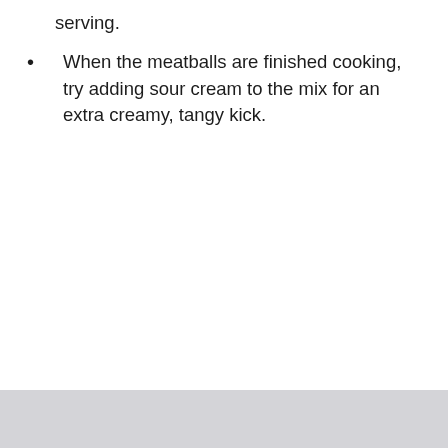serving.
When the meatballs are finished cooking, try adding sour cream to the mix for an extra creamy, tangy kick.
[Figure (photo): A light gray image strip at the bottom of the page, partially visible.]